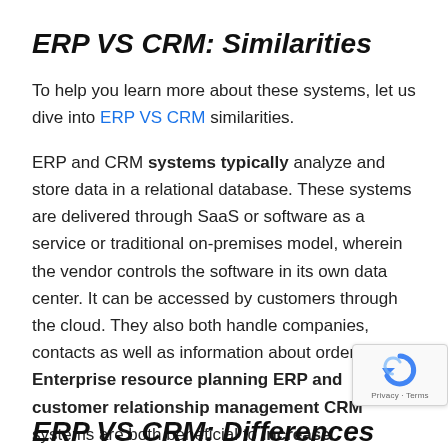ERP VS CRM: Similarities
To help you learn more about these systems, let us dive into ERP VS CRM similarities.
ERP and CRM systems typically analyze and store data in a relational database. These systems are delivered through SaaS or software as a service or traditional on-premises model, wherein the vendor controls the software in its own data center. It can be accessed by customers through the cloud. They also both handle companies, contacts as well as information about orders. Enterprise resource planning ERP and customer relationship management CRM systems are both beneficial to increase profitability of your busine...
ERP VS CRM: Differences